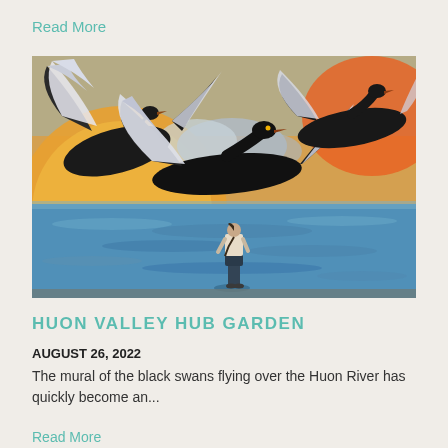Read More
[Figure (photo): A large outdoor mural painted on a wall featuring black swans flying over the Huon River with an orange sun and blue water, with a person standing in front of the mural for scale.]
HUON VALLEY HUB GARDEN
AUGUST 26, 2022
The mural of the black swans flying over the Huon River has quickly become an...
Read More